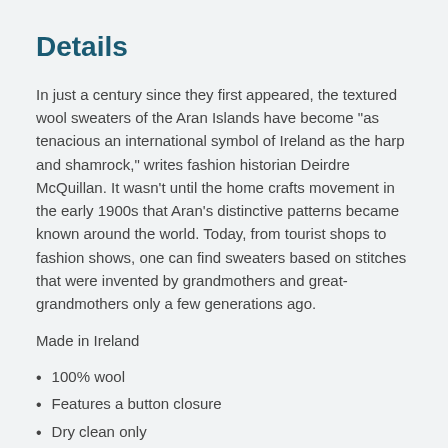Details
In just a century since they first appeared, the textured wool sweaters of the Aran Islands have become "as tenacious an international symbol of Ireland as the harp and shamrock," writes fashion historian Deirdre McQuillan. It wasn't until the home crafts movement in the early 1900s that Aran's distinctive patterns became known around the world. Today, from tourist shops to fashion shows, one can find sweaters based on stitches that were invented by grandmothers and great-grandmothers only a few generations ago.
Made in Ireland
100% wool
Features a button closure
Dry clean only